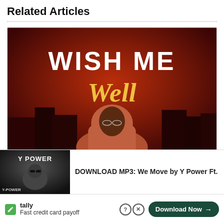Related Articles
[Figure (photo): Music album cover / promotional photo: man in hoodie with 'WISH ME Well' text on dark red background, with green music note icon overlay]
Trackers Minds by Shatta Wale
[Figure (photo): Thumbnail image of another article at bottom left]
DOWNLOAD MP3: We Move by Y Power Ft.
Fast credit card payoff
Download Now